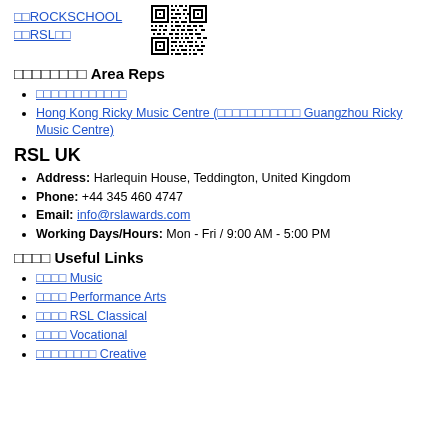[Figure (other): QR code image in top right area]
□□ROCKSCHOOL □□RSL□□
□□□□□□□□ Area Reps
□□□□□□□□□□□□
Hong Kong Ricky Music Centre (□□□□□□□□□□□ Guangzhou Ricky Music Centre)
RSL UK
Address: Harlequin House, Teddington, United Kingdom
Phone: +44 345 460 4747
Email: info@rslawards.com
Working Days/Hours: Mon - Fri / 9:00 AM - 5:00 PM
□□□□ Useful Links
□□□□ Music
□□□□ Performance Arts
□□□□ RSL Classical
□□□□ Vocational
□□□□□□□□ Creative